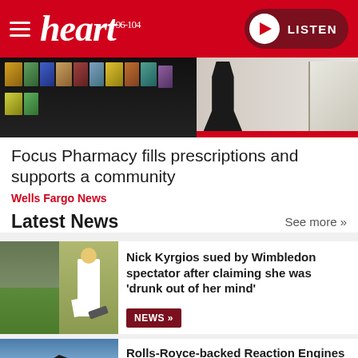heart 96-104 | LISTEN
[Figure (photo): Hero image showing pharmacy shelves with products and a person in dark clothing on left, white satin fabric on right with red bar at bottom]
Focus Pharmacy fills prescriptions and supports a community
Wells Fargo News
Latest News
See more »
[Figure (photo): Split image: left shows Wimbledon tennis crowd on green courts, right shows Nick Kyrgios in white tennis outfit holding racket]
Nick Kyrgios sued by Wimbledon spectator after claiming she was 'drunk out of her mind'
NEWS »
[Figure (photo): Dark stealth aircraft/hypersonic plane flying against a blue sky with flame/exhaust visible]
Rolls-Royce-backed Reaction Engines plots
UK & WORLD »
1bn public listing